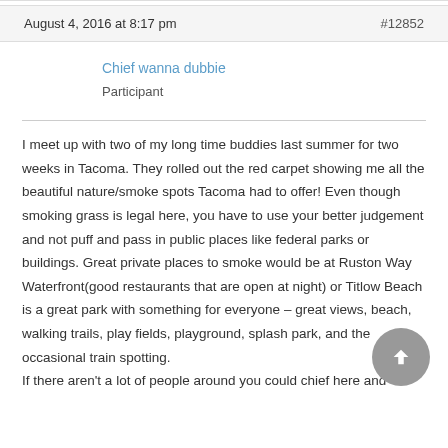August 4, 2016 at 8:17 pm  #12852
Chief wanna dubbie
Participant
I meet up with two of my long time buddies last summer for two weeks in Tacoma. They rolled out the red carpet showing me all the beautiful nature/smoke spots Tacoma had to offer! Even though smoking grass is legal here, you have to use your better judgement and not puff and pass in public places like federal parks or buildings. Great private places to smoke would be at Ruston Way Waterfront(good restaurants that are open at night) or Titlow Beach is a great park with something for everyone – great views, beach, walking trails, play fields, playground, splash park, and the occasional train spotting.
If there aren't a lot of people around you could chief here and